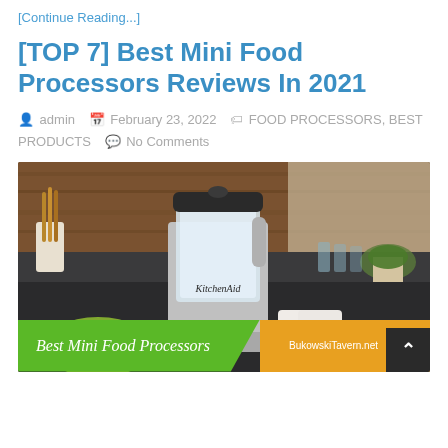[Continue Reading...]
[TOP 7] Best Mini Food Processors Reviews In 2021
admin   February 23, 2022   FOOD PROCESSORS, BEST PRODUCTS   No Comments
[Figure (photo): Photo of a KitchenAid mini food processor on a kitchen counter with food items, overlaid with text 'Best Mini Food Processors' and 'BukowskiTavern.net']